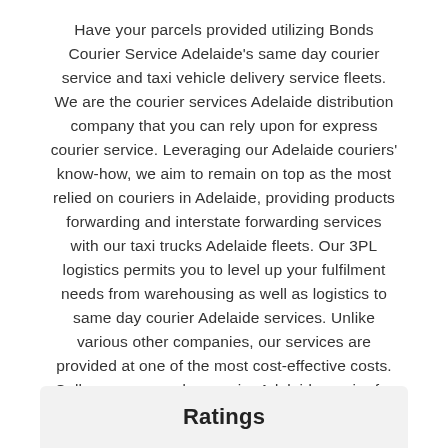Have your parcels provided utilizing Bonds Courier Service Adelaide's same day courier service and taxi vehicle delivery service fleets. We are the courier services Adelaide distribution company that you can rely upon for express courier service. Leveraging our Adelaide couriers' know-how, we aim to remain on top as the most relied on couriers in Adelaide, providing products forwarding and interstate forwarding services with our taxi trucks Adelaide fleets. Our 3PL logistics permits you to level up your fulfilment needs from warehousing as well as logistics to same day courier Adelaide services. Unlike various other companies, our services are provided at one of the most cost-effective costs. Call a very same day courier Adelaide carrier for immediate and next day deliveries.
Ratings